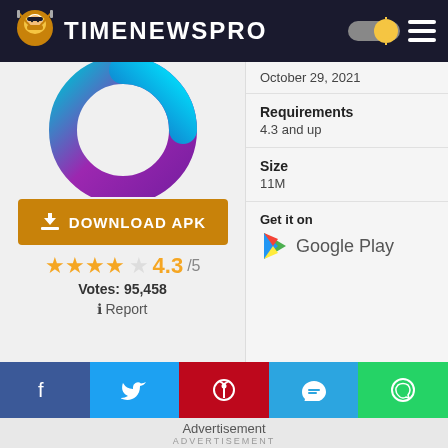TIMENEWSPRO
October 29, 2021
Requirements
4.3 and up
Size
11M
[Figure (logo): Colorful circular ring app icon in blue, purple, and teal gradient]
DOWNLOAD APK
4.3/5
Votes: 95,458
Report
Get it on
Google Play
Advertisement
ADVERTISEMENT